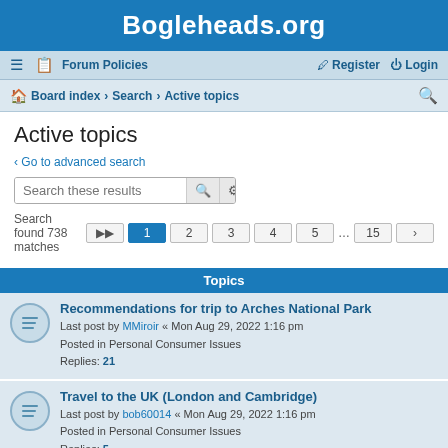Bogleheads.org
≡  Forum Policies    Register  Login
Board index › Search › Active topics
Active topics
< Go to advanced search
Search these results
Search found 738 matches  1 2 3 4 5 … 15 >
Topics
Recommendations for trip to Arches National Park
Last post by MMiroir « Mon Aug 29, 2022 1:16 pm
Posted in Personal Consumer Issues
Replies: 21
Travel to the UK (London and Cambridge)
Last post by bob60014 « Mon Aug 29, 2022 1:16 pm
Posted in Personal Consumer Issues
Replies: 5
New England in Autumn
Last post by Valuethinker « Mon Aug 29, 2022 1:16 pm
Posted in Personal Consumer Issues
Replies: 34